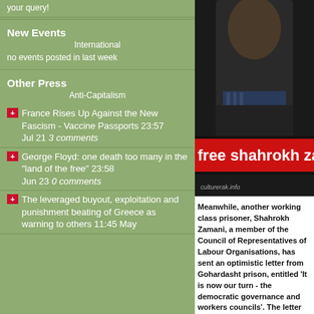your query!
New Events
International
no events posted in last week
Other Press
Anti-Capitalism
France Rises Up Against the New Fascism - Vaccine Passports 23:57 Jul 21 3 comments
George Floyd: one death too many in the "land of the free" 23:58 Jun 23 0 comments
The leveraged buyout, exploitation and punishment beating of Greece as warning to others 11:45 May
[Figure (photo): Photo of Shahrokh Zamani with red banner reading 'free shahrokh zama...' and credit to culturerak.info]
Meanwhile, another working class prisoner, Shahrokh Zamani, a member of the Council of Representatives of Labour Organisations, has sent an optimistic letter from Gohardasht prison, entitled ‘It is now our turn - the democratic governance and workers councils’. The letter explains how, in the face of a major economic crisis, capitalism has launched an attack on workers throughout the world, and Iran is no exception to this rule. Zamani argues that the Iranian working class should have no illusions in the ‘reformists’ within the Islamic regime, nor should it seek alliances with ‘liberals’ outside it. Instead workers should rely on their own strength. He ends his letter with the clarion call: “Workers have no alternative but to unite and organise. Long live the political general strike. Long live the revolution.